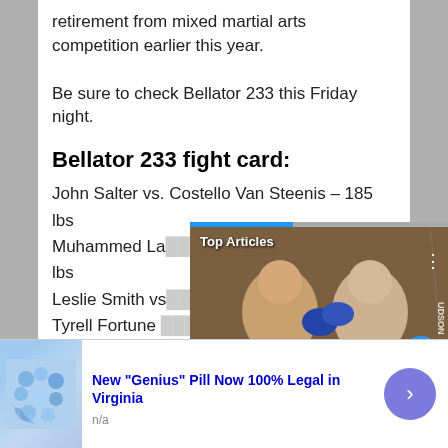retirement from mixed martial arts competition earlier this year.
Be sure to check Bellator 233 this Friday night.
Bellator 233 fight card:
John Salter vs. Costello Van Steenis – 185 lbs
Muhammed La... lbs
Leslie Smith vs...
Tyrell Fortune...
Julius Anglickas...
Janay Harding v...
[Figure (photo): Video overlay showing two MMA fighters in a boxing match, with 'Top Articles' label and Jose Aldo caption at bottom]
[Figure (photo): Advertisement banner: New 'Genius' Pill Now 100% Legal in Virginia, with blue pill image and n/a label]